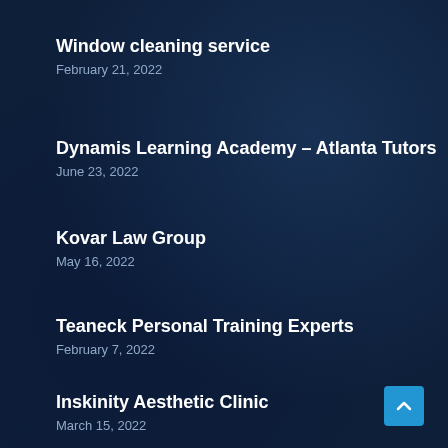Window cleaning service
February 21, 2022
Dynamis Learning Academy – Atlanta Tutors
June 23, 2022
Kovar Law Group
May 16, 2022
Teaneck Personal Training Experts
February 7, 2022
Inskinity Aesthetic Clinic
March 15, 2022